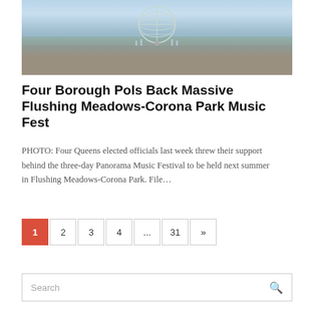[Figure (photo): Photo of the Unisphere sculpture at Flushing Meadows-Corona Park with fountains in the background and people in the foreground]
Four Borough Pols Back Massive Flushing Meadows-Corona Park Music Fest
PHOTO: Four Queens elected officials last week threw their support behind the three-day Panorama Music Festival to be held next summer in Flushing Meadows-Corona Park. File…
1  2  3  4  ...  31  »
Search